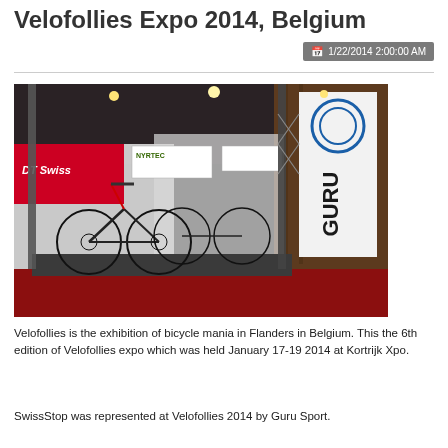Velofollies Expo 2014, Belgium
1/22/2014 2:00:00 AM
[Figure (photo): Indoor bicycle exhibition stand at Velofollies Expo 2014. The stand shows multiple road bikes on display, with banners including DT Swiss and Guru Sport logos. The floor is red carpet. Metal truss structures frame the booth.]
Velofollies is the exhibition of bicycle mania in Flanders in Belgium. This the 6th edition of Velofollies expo which was held January 17-19 2014 at Kortrijk Xpo.
SwissStop was represented at Velofollies 2014 by Guru Sport.